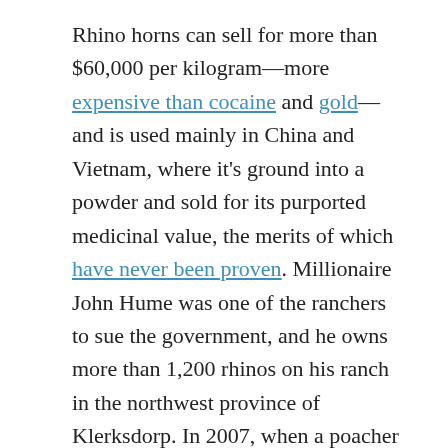Rhino horns can sell for more than $60,000 per kilogram––more expensive than cocaine and gold––and is used mainly in China and Vietnam, where it's ground into a powder and sold for its purported medicinal value, the merits of which have never been proven. Millionaire John Hume was one of the ranchers to sue the government, and he owns more than 1,200 rhinos on his ranch in the northwest province of Klerksdorp. In 2007, when a poacher killed one of his rhinos, Hume began cutting off their horns in an effort to prevent poachers from killing again. Since then, he has amassed five tons of horns, an enormous cache that if he were able to legally sell, Hume has said, could go toward rhino conservation. But some worry that legalizing a domestic trade will only fuel poaching. National Conserving...